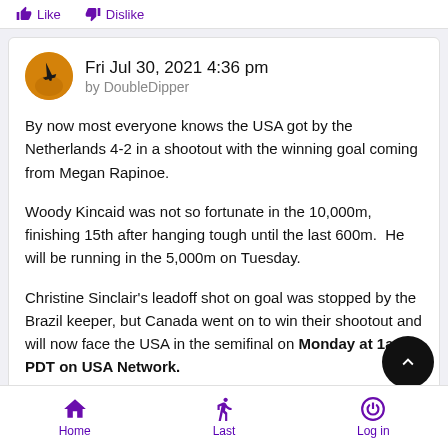Like  Dislike
Fri Jul 30, 2021 4:36 pm
by DoubleDipper
By now most everyone knows the USA got by the Netherlands 4-2 in a shootout with the winning goal coming from Megan Rapinoe.
Woody Kincaid was not so fortunate in the 10,000m, finishing 15th after hanging tough until the last 600m.  He will be running in the 5,000m on Tuesday.
Christine Sinclair's leadoff shot on goal was stopped by the Brazil keeper, but Canada went on to win their shootout and will now face the USA in the semifinal on Monday at 1am PDT on USA Network.
Home  Last  Log in